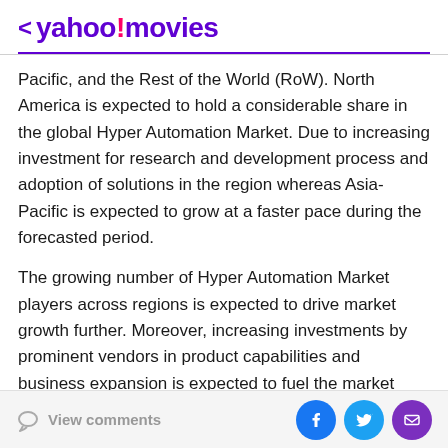< yahoo!movies
Pacific, and the Rest of the World (RoW). North America is expected to hold a considerable share in the global Hyper Automation Market. Due to increasing investment for research and development process and adoption of solutions in the region whereas Asia-Pacific is expected to grow at a faster pace during the forecasted period.
The growing number of Hyper Automation Market players across regions is expected to drive market growth further. Moreover, increasing investments by prominent vendors in product capabilities and business expansion is expected to fuel the market during the study period. Many market players are finding lucrative
View comments